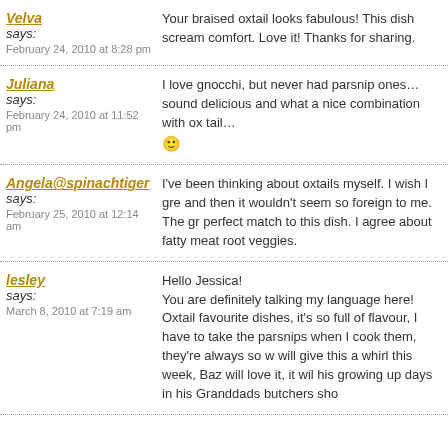Velva says:
February 24, 2010 at 8:28 pm
Your braised oxtail looks fabulous! This dish screams comfort. Love it! Thanks for sharing.
Juliana says:
February 24, 2010 at 11:52 pm
I love gnocchi, but never had parsnip ones…sounds delicious and what a nice combination with ox tail… 🙂
Angela@spinachtiger says:
February 25, 2010 at 12:14 am
I've been thinking about oxtails myself. I wish I grew and then it wouldn't seem so foreign to me. The gn perfect match to this dish. I agree about fatty meats root veggies.
lesley says:
March 8, 2010 at 7:19 am
Hello Jessica!
You are definitely talking my language here! Oxtail favourite dishes, it's so full of flavour, I have to take the parsnips when I cook them, they're always so w will give this a whirl this week, Baz will love it, it will his growing up days in his Granddads butchers sho